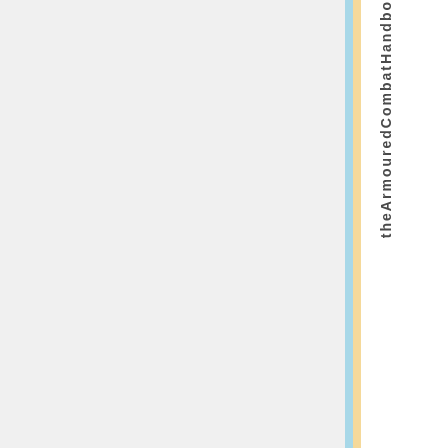[Figure (other): Blank grey main content area with blue and yellow vertical stripes on the right side]
theArmouredCombatHandbook